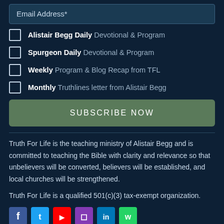Email Address*
Alistair Begg Daily Devotional & Program
Spurgeon Daily Devotional & Program
Weekly Program & Blog Recap from TFL
Monthly Truthlines letter from Alistair Begg
SUBSCRIBE NOW
Truth For Life is the teaching ministry of Alistair Begg and is committed to teaching the Bible with clarity and relevance so that unbelievers will be converted, believers will be established, and local churches will be strengthened.
Truth For Life is a qualified 501(c)(3) tax-exempt organization.
[Figure (other): Social media icons row at bottom]